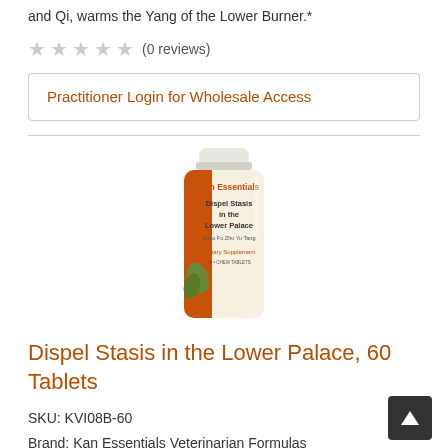and Qi, warms the Yang of the Lower Burner.*
★★★★★ (0 reviews)
Practitioner Login for Wholesale Access
[Figure (photo): Kan Essentials bottle labeled 'Dispel Stasis in the Lower Palace']
Dispel Stasis in the Lower Palace, 60 Tablets
SKU: KVI08B-60
Brand: Kan Essentials Veterinarian Formulas
Unit Size: 60 tablets, (500mg)
Dispels Blood stasis in the Lower Burner, invigorates Blood